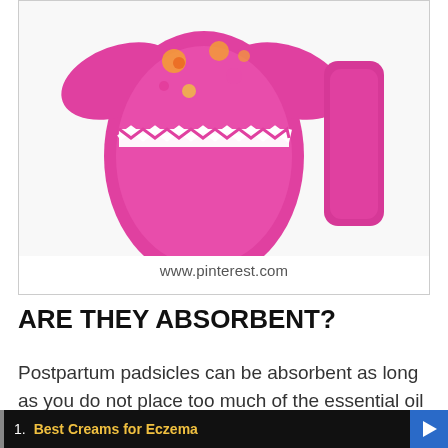[Figure (photo): Pink reusable cloth menstrual/postpartum pad with floral design and white zig-zag trim (padsicle), with a smaller pink insert/liner beside it. Image sourced from www.pinterest.com.]
www.pinterest.com
ARE THEY ABSORBENT?
Postpartum padsicles can be absorbent as long as you do not place too much of the essential oil mixture onto the pad. The feminine pads can absorb infections from any wound which is why you need to change it
1. Best Creams for Eczema